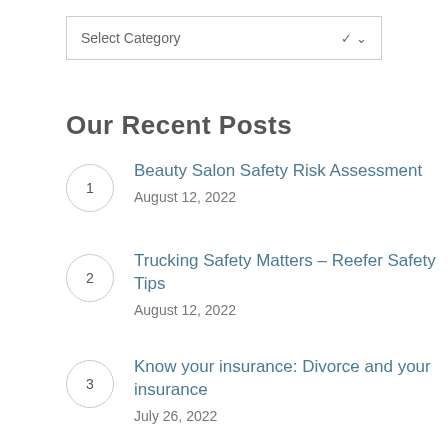Select Category
Our Recent Posts
Beauty Salon Safety Risk Assessment
August 12, 2022
Trucking Safety Matters – Reefer Safety Tips
August 12, 2022
Know your insurance: Divorce and your insurance
July 26, 2022